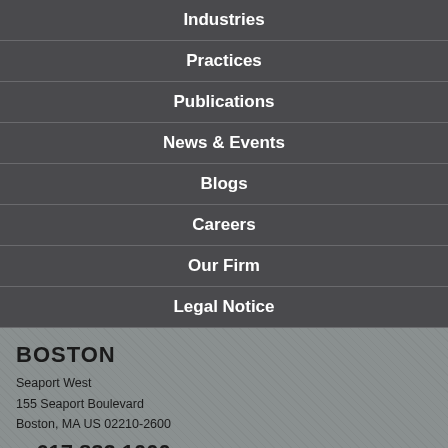Industries
Practices
Publications
News & Events
Blogs
Careers
Our Firm
Legal Notice
BOSTON
Seaport West
155 Seaport Boulevard
Boston, MA US 02210-2600
tel: 617.832.1000
fax: 617.832.7000
Directions » | Details »